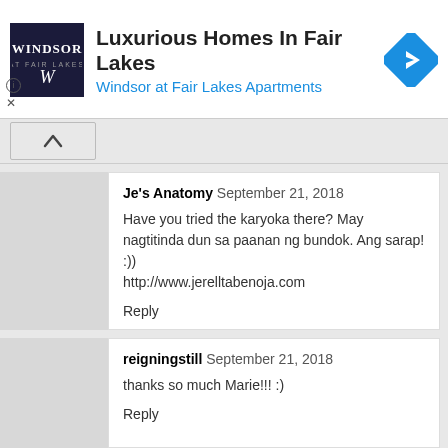[Figure (other): Advertisement banner for Windsor at Fair Lakes Apartments with logo, title text 'Luxurious Homes In Fair Lakes', subtitle 'Windsor at Fair Lakes Apartments', and a blue navigation arrow icon]
Je's Anatomy   September 21, 2018
Have you tried the karyoka there? May nagtitinda dun sa paanan ng bundok. Ang sarap! :))
http://www.jerelltabenoja.com
Reply
reigningstill   September 21, 2018
thanks so much Marie!!! :)
Reply
reigningstill   September 21, 2018
Sabi ko na di pa ko nakakareply dito eh. Hahahahahaha! :) Alam ko naman yun. Pero honesty is the best policy tol. Hindi naman talaga kayo supe...